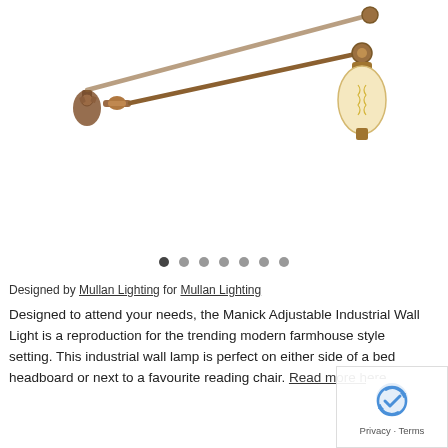[Figure (photo): An adjustable industrial wall light (Manick) with a long metal arm, ornate wall-mount bracket in aged copper/bronze finish, and an exposed Edison-style filament bulb on the right end. The arm extends diagonally. White background.]
Designed by Mullan Lighting for Mullan Lighting
Designed to attend your needs, the Manick Adjustable Industrial Wall Light is a reproduction for the trending modern farmhouse style setting. This industrial wall lamp is perfect on either side of a bed headboard or next to a favourite reading chair. Read more here